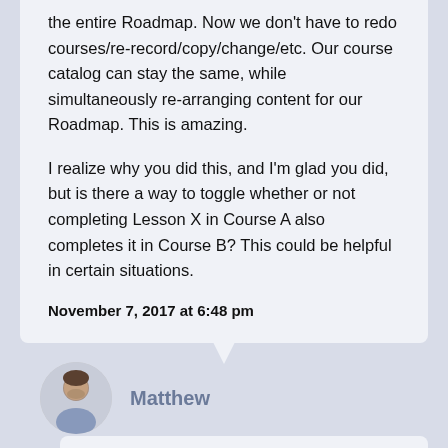the entire Roadmap. Now we don't have to redo courses/re-record/copy/change/etc. Our course catalog can stay the same, while simultaneously re-arranging content for our Roadmap. This is amazing.
I realize why you did this, and I'm glad you did, but is there a way to toggle whether or not completing Lesson X in Course A also completes it in Course B? This could be helpful in certain situations.
November 7, 2017 at 6:48 pm
[Figure (photo): Round avatar photo of a man named Matthew]
Matthew